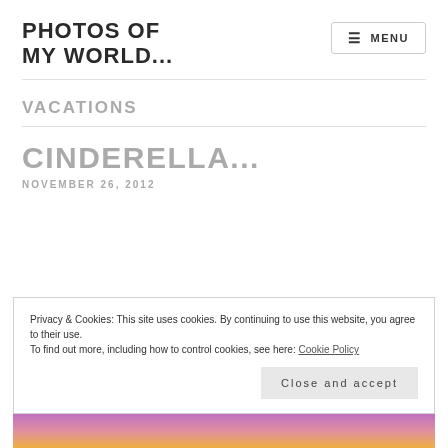PHOTOS OF MY WORLD...
VACATIONS
CINDERELLA...
NOVEMBER 26, 2012
Privacy & Cookies: This site uses cookies. By continuing to use this website, you agree to their use.
To find out more, including how to control cookies, see here: Cookie Policy
Close and accept
[Figure (photo): Colorful image strip at the bottom, partially visible, showing bright colors (purple, pink, orange).]